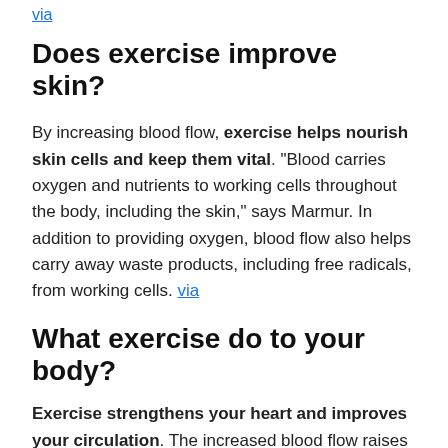via
Does exercise improve skin?
By increasing blood flow, exercise helps nourish skin cells and keep them vital. "Blood carries oxygen and nutrients to working cells throughout the body, including the skin," says Marmur. In addition to providing oxygen, blood flow also helps carry away waste products, including free radicals, from working cells. via
What exercise do to your body?
Exercise strengthens your heart and improves your circulation. The increased blood flow raises the